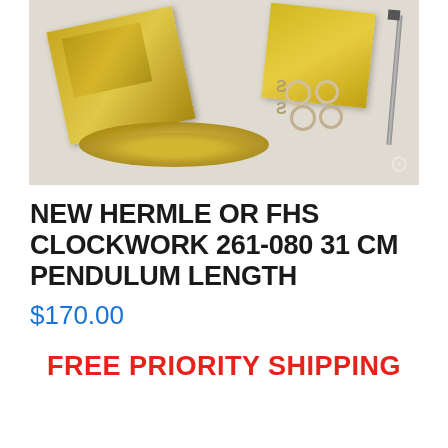[Figure (photo): Photo of clock mechanism components including golden clockwork movement parts, brass chains, small rings and hooks, and a pendulum rod, arranged on a light grey background with a watermark.]
NEW HERMLE OR FHS CLOCKWORK 261-080 31 CM PENDULUM LENGTH
$170.00
FREE PRIORITY SHIPPING